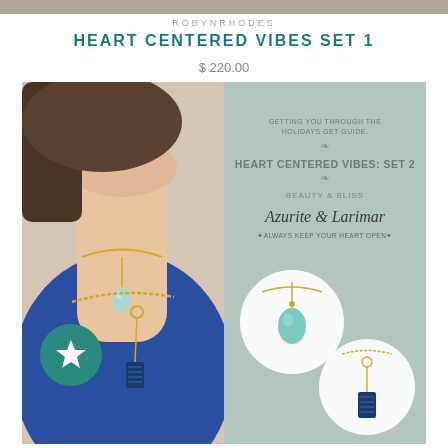ROBYNRHODES
HEART CENTERED VIBES SET 1
$ 220.00
[Figure (photo): Composite product photo: left side shows a woman wearing layered gold necklaces with a blue teardrop stone and a rectangular azurite pendant over a blue top; right side shows a teal/grey gift guide card reading 'GETTING YOU THROUGH THE HOLIDAYS GET GUIDE', 'HEART CENTERED VIBES: SET 2', 'BEAUTY & BLISS', 'Azurite & Larimar', 'ALWAYS KEEP YOUR HEART OPEN', with circular product photos of the two necklaces on gold chains below. A teal circle with a white star icon overlays the bottom-left of the image.]